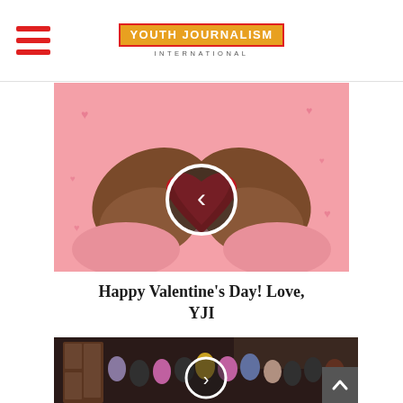YOUTH JOURNALISM INTERNATIONAL
[Figure (illustration): Cartoon illustration of two hands forming a heart shape with fingers, red heart in center, pink background with small hearts. Circle play/navigation button overlay with left chevron.]
Happy Valentine’s Day! Love, YJI
[Figure (photo): Group photo of approximately 12 theater cast members posing on a stage set resembling a wood-paneled room. Circle navigation button overlay with right chevron.]